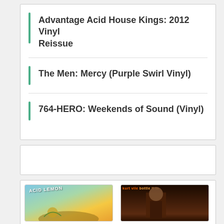Advantage Acid House Kings: 2012 Vinyl Reissue
The Men: Mercy (Purple Swirl Vinyl)
764-HERO: Weekends of Sound (Vinyl)
[Figure (other): Empty white content box]
[Figure (other): Two album cover thumbnails side by side: left shows 'Acid Lemon' with tropical/colorful artwork, right shows 'Kurt Vile: Bottle It In' with dark brown tones and figure of a person]